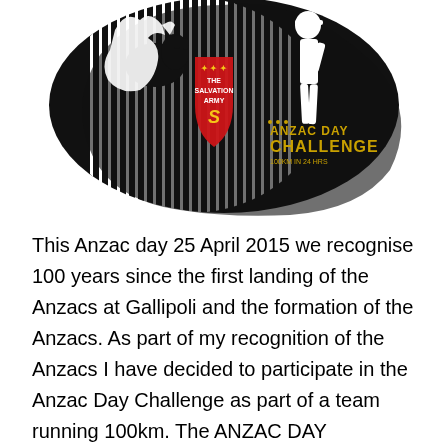[Figure (logo): Salvation Army ANZAC Day Challenge logo: black silhouette of a soldier and a kangaroo with vertical stripes, a red Salvation Army shield badge in the center, and gold 'ANZAC DAY CHALLENGE' text on the right lower portion.]
This Anzac day 25 April 2015 we recognise 100 years since the first landing of the Anzacs at Gallipoli and the formation of the Anzacs. As part of my recognition of the Anzacs I have decided to participate in the Anzac Day Challenge as part of a team running 100km. The ANZAC DAY CHALLENGE is a timed running and trekking endurance challenge held on ANZAC Day covering 100km of spectacular and scenic northern Sydney trails through both the Ku-ring-ai and Garigal National Parks. The